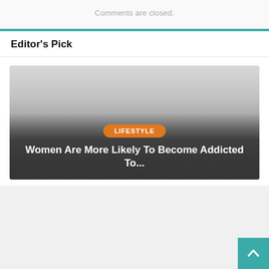Comments are closed.
Editor's Pick
[Figure (illustration): Article thumbnail image card with gradient overlay, LIFESTYLE badge in orange, and article title 'Women Are More Likely To Become Addicted To...' in white text]
LIFESTYLE
Women Are More Likely To Become Addicted To...